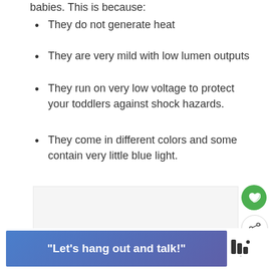babies. This is because:
They do not generate heat
They are very mild with low lumen outputs
They run on very low voltage to protect your toddlers against shock hazards.
They come in different colors and some contain very little blue light.
ADVERTISEMENT
[Figure (other): Heart/like button (green circle with heart icon) and share button (white circle with share icon) on the right sidebar]
[Figure (other): What's Next widget showing a projector thumbnail image with text 'WHAT'S NEXT → How Do Projectors...']
[Figure (other): Advertisement banner at the bottom with text 'Let's hang out and talk!' in white on blue/purple background, with a logo to the right]